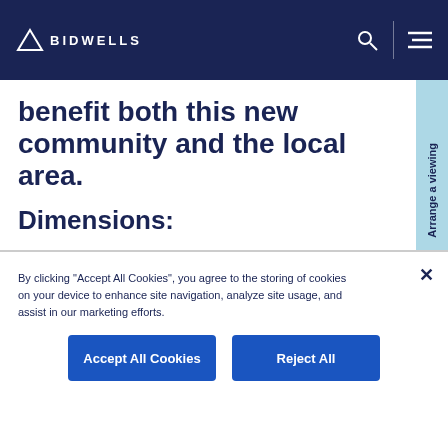BIDWELLS
benefit both this new community and the local area.
Dimensions:
Kitchen/Living/Dining Area
By clicking "Accept All Cookies", you agree to the storing of cookies on your device to enhance site navigation, analyze site usage, and assist in our marketing efforts.